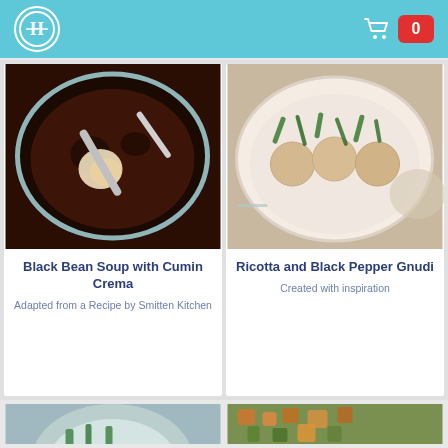Header with logo and cart (0 items)
[Figure (photo): Overhead photo of black bean soup in a blue-green bowl with white crema swirl and a spoon]
Black Bean Soup with Cumin Crema
Adapted from a Recipe by Smitten Kitchen
[Figure (photo): Overhead photo of ricotta and black pepper gnudi in a white dish topped with fresh herbs]
Ricotta and Black Pepper Gnudi
Created with inspiration
[Figure (photo): Partial bottom-left image of a soup dish]
[Figure (photo): Partial bottom-right image of a salad or vegetable dish]